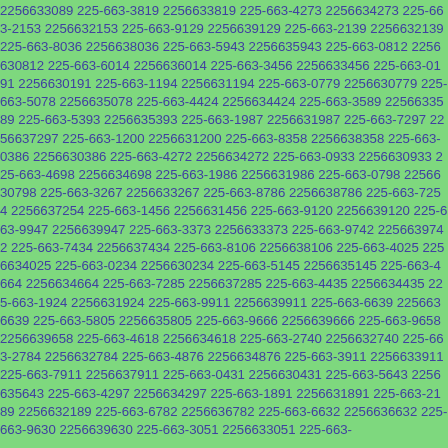2256633089 225-663-3819 2256633819 225-663-4273 2256634273 225-663-2153 2256632153 225-663-9129 2256639129 225-663-2139 2256632139 225-663-8036 2256638036 225-663-5943 2256635943 225-663-0812 2256630812 225-663-6014 2256636014 225-663-3456 2256633456 225-663-0191 2256630191 225-663-1194 2256631194 225-663-0779 2256630779 225-663-5078 2256635078 225-663-4424 2256634424 225-663-3589 2256633589 225-663-5393 2256635393 225-663-1987 2256631987 225-663-7297 2256637297 225-663-1200 2256631200 225-663-8358 2256638358 225-663-0386 2256630386 225-663-4272 2256634272 225-663-0933 2256630933 225-663-4698 2256634698 225-663-1986 2256631986 225-663-0798 2256630798 225-663-3267 2256633267 225-663-8786 2256638786 225-663-7254 2256637254 225-663-1456 2256631456 225-663-9120 2256639120 225-663-9947 2256639947 225-663-3373 2256633373 225-663-9742 2256639742 225-663-7434 2256637434 225-663-8106 2256638106 225-663-4025 2256634025 225-663-0234 2256630234 225-663-5145 2256635145 225-663-4664 2256634664 225-663-7285 2256637285 225-663-4435 2256634435 225-663-1924 2256631924 225-663-9911 2256639911 225-663-6639 2256636639 225-663-5805 2256635805 225-663-9666 2256639666 225-663-9658 2256639658 225-663-4618 2256634618 225-663-2740 2256632740 225-663-2784 2256632784 225-663-4876 2256634876 225-663-3911 2256633911 225-663-7911 2256637911 225-663-0431 2256630431 225-663-5643 2256635643 225-663-4297 2256634297 225-663-1891 2256631891 225-663-2189 2256632189 225-663-6782 2256636782 225-663-6632 2256636632 225-663-9630 2256639630 225-663-3051 2256633051 225-663-